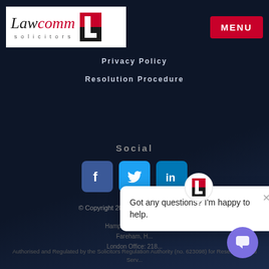[Figure (logo): Lawcomm Solicitors logo with red L icon]
MENU
Privacy Policy
Resolution Procedure
Social
[Figure (illustration): Social media icons: Facebook, Twitter, LinkedIn]
© Copyright 2022 Lawcomm Solicitors
Hampshire Office: U... Fareham, H... London Office: 218...
Authorised and Regulated by the Solicitors Regulation Authority (no. 623098) for Reserved Legal Serv...
[Figure (other): Chat popup with text: Got any questions? I'm happy to help.]